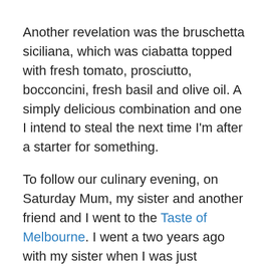Another revelation was the bruschetta siciliana, which was ciabatta topped with fresh tomato, prosciutto, bocconcini, fresh basil and olive oil.  A simply delicious combination and one I intend to steal the next time I'm after a starter for something.
To follow our culinary evening, on Saturday Mum, my sister and another friend and I went to the Taste of Melbourne.  I went a two years ago with my sister when I was just pregnant with Miss One.  I wasn't telling anyone at that point so I had to avoid the no-go foods and drinks without looking too obvious about it.  I must have done alright because my sister didn't pick up on anything.  This time around I indulged in everything and LOVED it.  The idea is that a selection of top restaurants serve up small